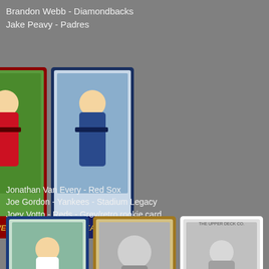Brandon Webb - Diamondbacks
Jake Peavy - Padres
[Figure (photo): Three baseball cards side by side: John Smoltz, Brandon Webb (Diamondbacks), and Jake Peavy (Padres)]
Jonathan Van Every - Red Sox
Joe Gordon - Yankees - Stadium Legacy
Joey Votto - Reds - Grey/retro rookie card
[Figure (photo): Three baseball cards side by side: Jonathan Van Every (Red Sox), Joe Gordon (Yankees Stadium Legacy), and Joey Votto (Reds grey/retro rookie card)]
I don't know if the Votto is an insert or not. I don't think so since it doesn't say so but maybe the label of (177) it'll